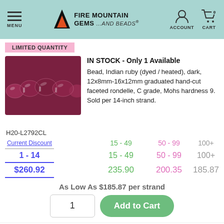MENU | FIRE MOUNTAIN GEMS ...and Beads® | ACCOUNT | CART 0
LIMITED QUANTITY
IN STOCK - Only 1 Available
Bead, Indian ruby (dyed / heated), dark, 12x8mm-16x12mm graduated hand-cut faceted rondelle, C grade, Mohs hardness 9. Sold per 14-inch strand.
[Figure (photo): Close-up photo of dark ruby red faceted rondelle beads on a strand]
H20-L2792CL
| Current Discount |  | 15 - 49 | 50 - 99 | 100+ |
| --- | --- | --- | --- | --- |
| 1 - 14 |  | 15 - 49 | 50 - 99 | 100+ |
| $260.92 |  | 235.90 | 200.35 | 185.87 |
As Low As $185.87 per strand
LIMITED QUANTITY
IN STOCK - Only 2 Available